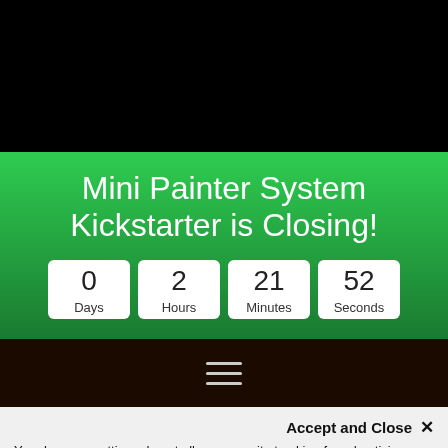[Figure (screenshot): Black top section of a webpage screenshot]
Mini Painter System Kickstarter is Closing!
0 Days  2 Hours  21 Minutes  52 Seconds
[Figure (screenshot): Dark brown navigation bar with hamburger menu icon (three horizontal lines)]
Accept and Close ✕
Your browser settings do not allow cross-site tracking for advertising. Click on this page to allow AdRoll to use cross-site tracking to tailor ads to you. Learn more or opt out of this AdRoll tracking by clicking here. This message only appears once.